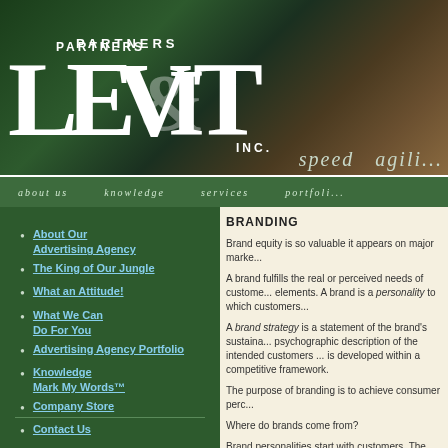[Figure (logo): Levit Partners Inc. advertising agency logo on dark green and brown gradient background with white serif text]
speed  agili...
about us   knowledge   services   portfoli...
BRANDING
About Our Advertising Agency
The King of Our Jungle
What an Attitude!
What We Can Do For You
Advertising Agency Portfolio
Knowledge Mark My Words™
Company Store
Contact Us
Brand equity is so valuable it appears on major marke...
A brand fulfills the real or perceived needs of custome... elements. A brand is a personality to which customers...
A brand strategy is a statement of the brand's sustaina... psychographic description of the intended customers ... is developed within a competitive framework.
The purpose of branding is to achieve consumer perc...
Where do brands come from?
Brand personalities start with customers. The markete... needs and observes the behaviors of the customer wh...
For example, for the purpose of argument, let's assum... in cleaning clothes in a washing machine when...